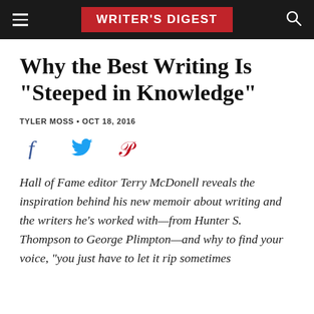WRITER'S DIGEST
Why the Best Writing Is "Steeped in Knowledge"
TYLER MOSS • OCT 18, 2016
[Figure (infographic): Social share icons: Facebook (blue), Twitter (blue), Pinterest (red)]
Hall of Fame editor Terry McDonell reveals the inspiration behind his new memoir about writing and the writers he's worked with—from Hunter S. Thompson to George Plimpton—and why to find your voice, "you just have to let it rip sometimes